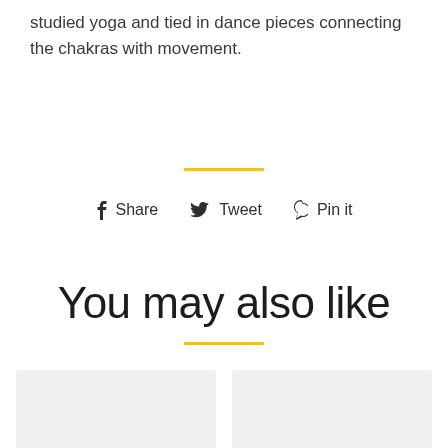studied yoga and tied in dance pieces connecting the chakras with movement.
[Figure (infographic): Social sharing buttons: Share, Tweet, Pin it with icons for Facebook, Twitter, and Pinterest]
You may also like
[Figure (photo): Two gray placeholder thumbnail images side by side]